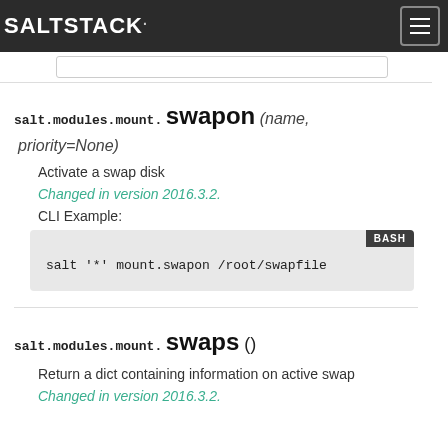SALTSTACK
salt.modules.mount. swapon (name, priority=None)
Activate a swap disk
Changed in version 2016.3.2.
CLI Example:
[Figure (other): Code block showing bash command: salt '*' mount.swapon /root/swapfile]
salt.modules.mount. swaps ()
Return a dict containing information on active swap
Changed in version 2016.3.2.